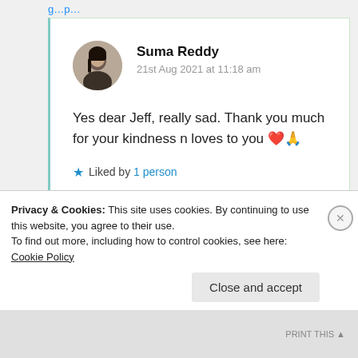Suma Reddy
21st Aug 2021 at 11:18 am
Yes dear Jeff, really sad. Thank you much for your kindness n loves to you ❤️🙏
★ Liked by 1 person
Privacy & Cookies: This site uses cookies. By continuing to use this website, you agree to their use.
To find out more, including how to control cookies, see here: Cookie Policy
Close and accept
PRINT THIS ▲